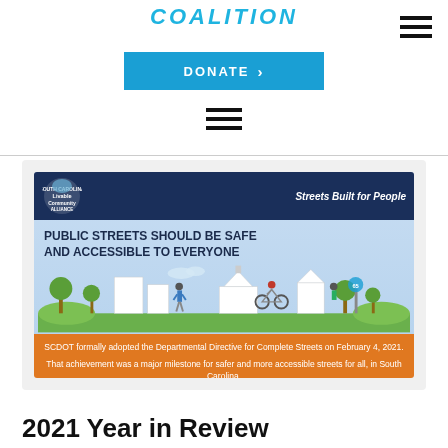COALITION
[Figure (infographic): Streets Built for People infographic from South Carolina Livable Communities Alliance. Shows public street scene with pedestrians, cyclists, and buildings. Header reads 'Streets Built for People'. Main text: 'PUBLIC STREETS SHOULD BE SAFE AND ACCESSIBLE TO EVERYONE'. Orange footer: 'SCDOT formally adopted the Departmental Directive for Complete Streets on February 4, 2021. That achievement was a major milestone for safer and more accessible streets for all, in South Carolina.']
2021 Year in Review